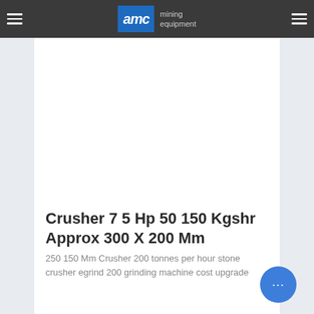AMC mining equipment
[Figure (photo): White blank product image area for crusher equipment]
Crusher 7 5 Hp 50 150 Kgshr Approx 300 X 200 Mm
250 150 Mm Crusher 200 tonnes per hour stone crusher egrind 200 grinding machine cost upgrade